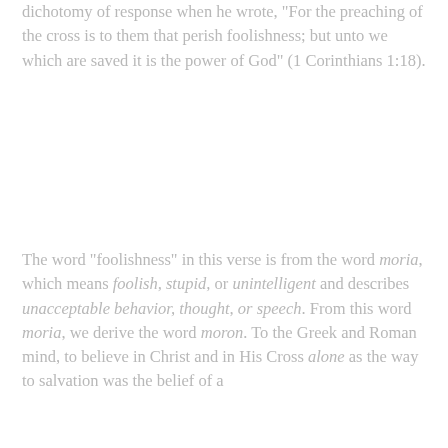dichotomy of response when he wrote, "For the preaching of the cross is to them that perish foolishness; but unto we which are saved it is the power of God" (1 Corinthians 1:18).
The word "foolishness" in this verse is from the word moria, which means foolish, stupid, or unintelligent and describes unacceptable behavior, thought, or speech. From this word moria, we derive the word moron. To the Greek and Roman mind, to believe in Christ and in His Cross alone as the way to salvation was the belief of a
We use cookies on our website to give you the most relevant experience by remembering your preferences and repeat visits. By clicking "Accept", you consent to the use of ALL the cookies.
Cookie settings   ACCEPT